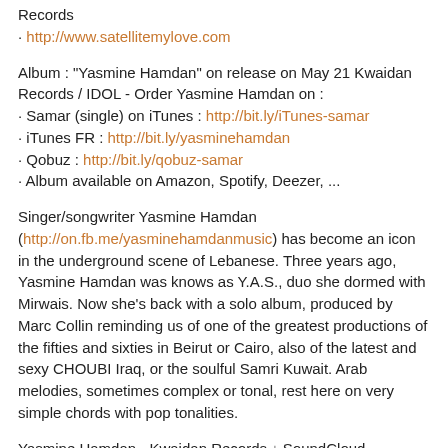Records
· http://www.satellitemylove.com
Album : "Yasmine Hamdan" on release on May 21 Kwaidan Records / IDOL - Order Yasmine Hamdan on :
· Samar (single) on iTunes : http://bit.ly/iTunes-samar
· iTunes FR : http://bit.ly/yasminehamdan
· Qobuz : http://bit.ly/qobuz-samar
· Album available on Amazon, Spotify, Deezer, ...
Singer/songwriter Yasmine Hamdan (http://on.fb.me/yasminehamdanmusic) has become an icon in the underground scene of Lebanese. Three years ago, Yasmine Hamdan was knows as Y.A.S., duo she dormed with Mirwais. Now she's back with a solo album, produced by Marc Collin reminding us of one of the greatest productions of the fifties and sixties in Beirut or Cairo, also of the latest and sexy CHOUBI Iraq, or the soulful Samri Kuwait. Arab melodies, sometimes complex or tonal, rest here on very simple chords with pop tonalities.
Yasmine Hamdan - Kwaidan Records ↓ SoundCloud